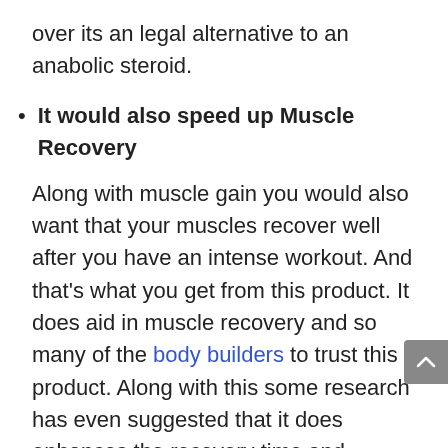over its an legal alternative to an anabolic steroid.
It would also speed up Muscle Recovery
Along with muscle gain you would also want that your muscles recover well after you have an intense workout. And that's what you get from this product. It does aid in muscle recovery and so many of the body builders to trust this product. Along with this some research has even suggested that it does enhances the recovery time and encourages a healthy muscle growth.